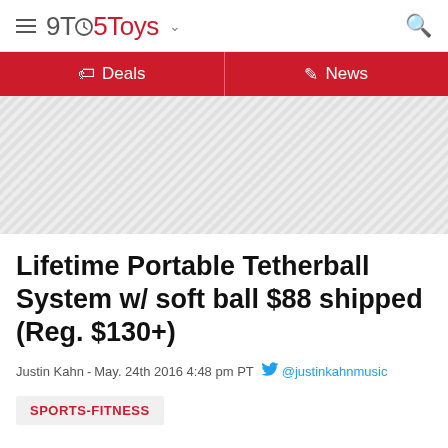9TO5Toys
Deals | News
[Figure (other): Advertisement placeholder area with diagonal hatching pattern]
Lifetime Portable Tetherball System w/ soft ball $88 shipped (Reg. $130+)
Justin Kahn - May. 24th 2016 4:48 pm PT @justinkahnmusic
SPORTS-FITNESS